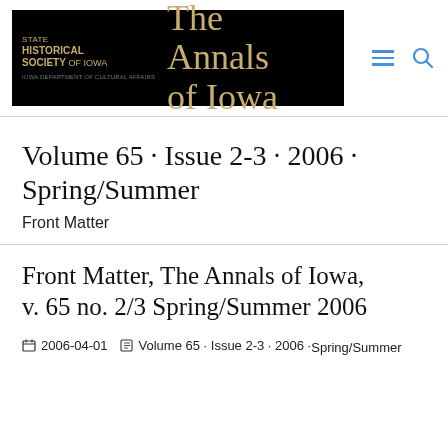[Figure (logo): State Historical Society of Iowa — The Annals of Iowa logo, black background with gold text]
Volume 65 · Issue 2-3 · 2006 · Spring/Summer
Front Matter
Front Matter, The Annals of Iowa, v. 65 no. 2/3 Spring/Summer 2006
2006-04-01   Volume 65 · Issue 2-3 · 2006 · Spring/Summer